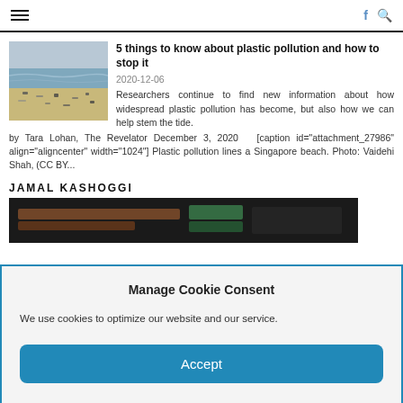≡  f 🔍
5 things to know about plastic pollution and how to stop it
2020-12-06
Researchers continue to find new information about how widespread plastic pollution has become, but also how we can help stem the tide. by Tara Lohan, The Revelator December 3, 2020   [caption id="attachment_27986" align="aligncenter" width="1024"] Plastic pollution lines a Singapore beach. Photo: Vaidehi Shah, (CC BY...
JAMAL KASHOGGI
[Figure (photo): Thumbnail image of plastic-polluted beach in Singapore]
[Figure (photo): Dark strip image related to Jamal Kashoggi article]
Manage Cookie Consent
We use cookies to optimize our website and our service.
Accept